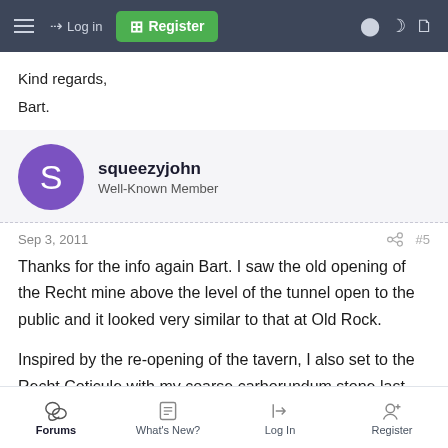Navigation bar with hamburger menu, Log in, Register, and icon buttons
Kind regards,
Bart.
squeezyjohn
Well-Known Member
Sep 3, 2011  #5
Thanks for the info again Bart. I saw the old opening of the Recht mine above the level of the tunnel open to the public and it looked very similar to that at Old Rock.

Inspired by the re-opening of the tavern, I also set to the Recht Coticule with my coarse carborundum stone last night
Forums | What's New? | Log In | Register